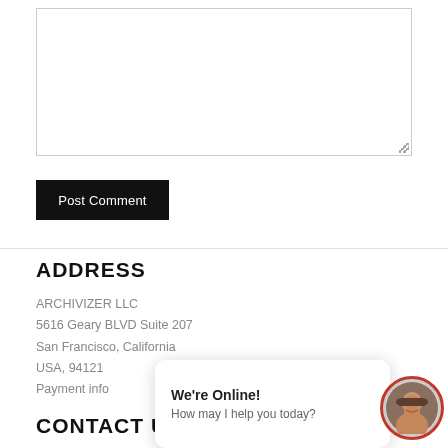[Figure (screenshot): Textarea input box with resize handle]
Post Comment
ADDRESS
ARCHIVIZER LLC
5616 Geary BLVD Suite 207
San Francisco, California
USA, 94121
Payment info
CONTACT US 24/7
+1 607 383 2001 NY, US
+44 203 617 1683 Lond
We're Online!
How may I help you today?